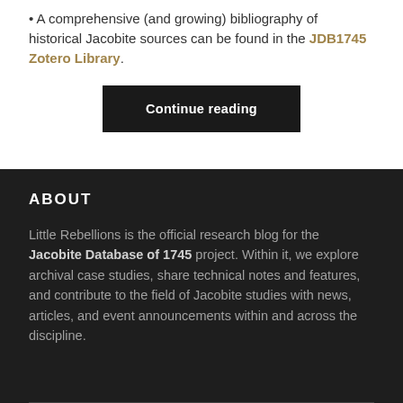A comprehensive (and growing) bibliography of historical Jacobite sources can be found in the JDB1745 Zotero Library.
Continue reading
ABOUT
Little Rebellions is the official research blog for the Jacobite Database of 1745 project. Within it, we explore archival case studies, share technical notes and features, and contribute to the field of Jacobite studies with news, articles, and event announcements within and across the discipline.